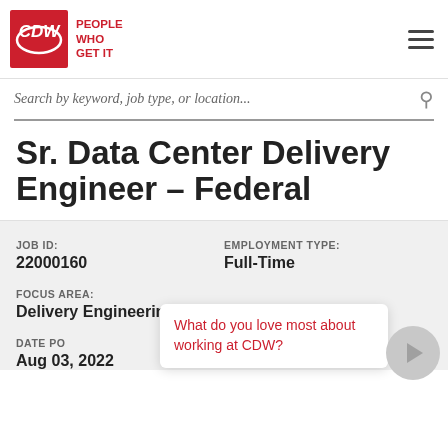[Figure (logo): CDW logo - red box with CDW text, tagline PEOPLE WHO GET IT in red]
Search by keyword, job type, or location...
Sr. Data Center Delivery Engineer – Federal
JOB ID: 22000160
EMPLOYMENT TYPE: Full-Time
FOCUS AREA: Delivery Engineering
What do you love most about working at CDW?
DATE POSTED: Aug 03, 2022